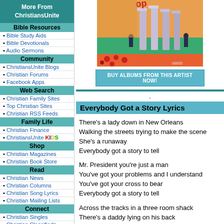More From ChristiansUnite
Bible Resources
• Bible Study Aids
• Bible Devotionals
• Audio Sermons
Community
• ChristiansUnite Blogs
• Christian Forums
• Facebook Apps
Web Search
• Christian Family Sites
• Top Christian Sites
• Christian RSS Feeds
Family Life
• Christian Finance
• ChristiansUnite KIDS
Shop
• Christian Magazines
• Christian Book Store
Read
• Christian News
• Christian Columns
• Christian Song Lyrics
• Christian Mailing Lists
Connect
• Christian Singles
• Christian Classifieds
Graphics
• Free Christian Clipart
• Christian Wallpaper
Fun Stuff
• Clean Christian Jokes
[Figure (photo): Album cover art showing pillars/columns with figures, colorful background with teal, orange and red tones. Text 'op' visible at top.]
BUY ALBUMS FROM THIS ARTIST NOW!
Everybody Got a Story Lyrics
There's a lady down in New Orleans
Walking the streets trying to make the scene
She's a runaway
Everybody got a story to tell

Mr. President you're just a man
You've got your problems and I understand
You've got your cross to bear
Everybody got a story to tell

Across the tracks in a three room shack
There's a daddy lying on his back
He's drunk again
Baby's crying ain't got no milk to drink